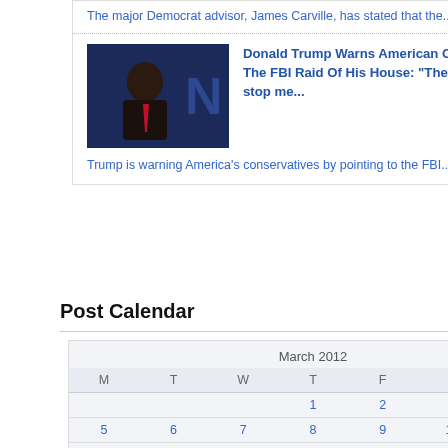The major Democrat advisor, James Carville, has stated that the...
[Figure (photo): Photo of Donald Trump speaking, dark background with partial 'N' letter visible]
Donald Trump Warns American Conservatives About The FBI Raid Of His House: "The Left will do anything to stop me..."
Trump is warning America's conservatives by pointing to the FBI...
Post Calendar
| M | T | W | T | F | S | S |
| --- | --- | --- | --- | --- | --- | --- |
|  |  |  | 1 | 2 | 3 | 4 |
| 5 | 6 | 7 | 8 | 9 | 10 | 11 |
| 12 | 13 | 14 | 15 | 16 | 17 | 18 |
| 19 | 20 | 21 | 22 | 23 | 24 | 25 |
| 26 | 27 | 28 | 29 | 30 | 31 |  |